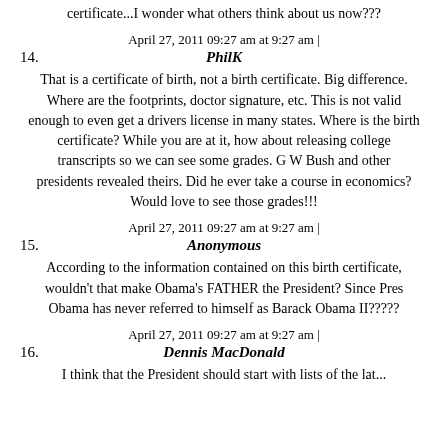certificate...I wonder what others think about us now???
April 27, 2011 09:27 am at 9:27 am |
14. PhilK
That is a certificate of birth, not a birth certificate. Big difference. Where are the footprints, doctor signature, etc. This is not valid enough to even get a drivers license in many states. Where is the birth certificate? While you are at it, how about releasing college transcripts so we can see some grades. G W Bush and other presidents revealed theirs. Did he ever take a course in economics? Would love to see those grades!!!
April 27, 2011 09:27 am at 9:27 am |
15. Anonymous
According to the information contained on this birth certificate, wouldn't that make Obama's FATHER the President? Since Pres Obama has never referred to himself as Barack Obama II?????
April 27, 2011 09:27 am at 9:27 am |
16. Dennis MacDonald
I think that the President should start with lists of the latest...